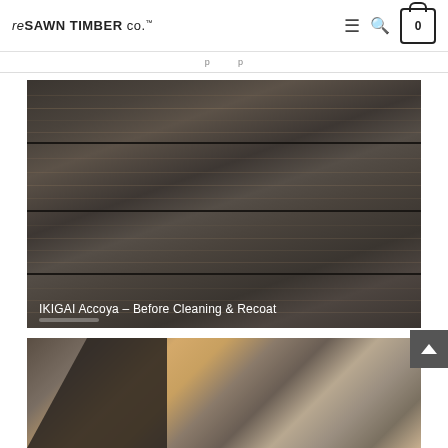reSAWN TIMBER co.™
[Figure (photo): Close-up of dark charred wood siding planks (IKIGAI Accoya) showing horizontal boards with dark gray-brown tones and wood grain patterns, before cleaning and recoat treatment.]
IKIGAI Accoya – Before Cleaning & Recoat
[Figure (photo): Person leaning over a display of wood siding samples in various tones including natural, gray, and brown finishes, examining the samples outdoors.]